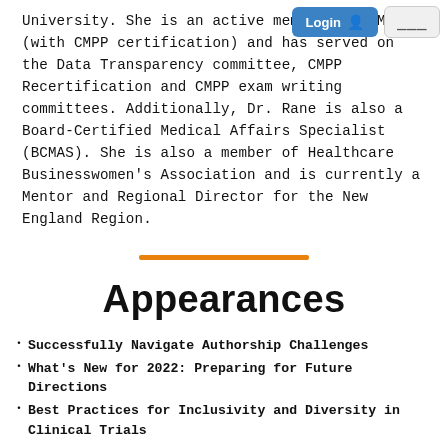Login | Menu
University. She is an active member of ISMPP (with CMPP certification) and has served on the Data Transparency committee, CMPP Recertification and CMPP exam writing committees. Additionally, Dr. Rane is also a Board-Certified Medical Affairs Specialist (BCMAS). She is also a member of Healthcare Businesswomen's Association and is currently a Mentor and Regional Director for the New England Region.
Appearances
Successfully Navigate Authorship Challenges
What's New for 2022: Preparing for Future Directions
Best Practices for Inclusivity and Diversity in Clinical Trials
Breakout 2: Best Practices for Inclusivity and Diversity in Clinical Trials